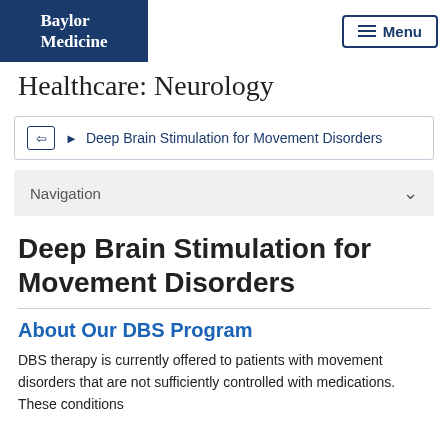Baylor Medicine
Menu
Healthcare: Neurology
Deep Brain Stimulation for Movement Disorders
Navigation
Deep Brain Stimulation for Movement Disorders
About Our DBS Program
DBS therapy is currently offered to patients with movement disorders that are not sufficiently controlled with medications. These conditions